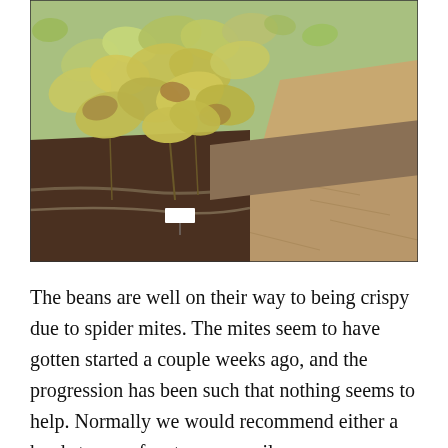[Figure (photo): A raised garden bed with bean plants showing yellowing and browning leaves consistent with spider mite damage. The bed has a wooden border, drip irrigation tubing visible on the left, and wood chip mulch surrounding it. Sunlight illuminates the damaged foliage.]
The beans are well on their way to being crispy due to spider mites. The mites seem to have gotten started a couple weeks ago, and the progression has been such that nothing seems to help. Normally we would recommend either a hard stream of water, neem oil, or horticultural oil to treat, to start over with the cleanest...